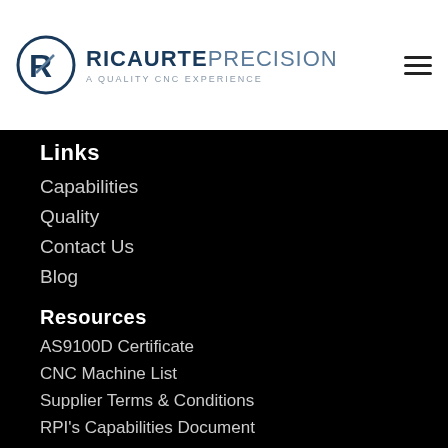[Figure (logo): Ricaurte Precision logo with circular R emblem and text 'RICAURTE PRECISION – A Quality CNC Experience']
Links
Capabilities
Quality
Contact Us
Blog
Resources
AS9100D Certificate
CNC Machine List
Supplier Terms & Conditions
RPI's Capabilities Document